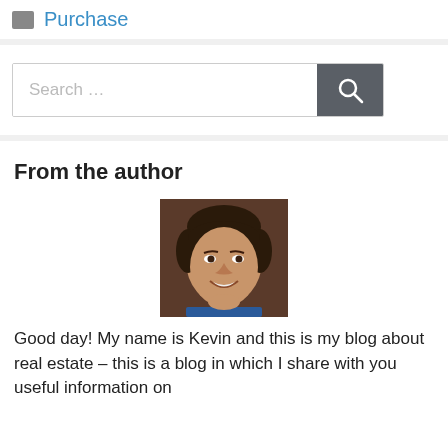Purchase
Search …
From the author
[Figure (photo): Headshot of a smiling middle-aged man with dark hair, wearing a blue shirt, against a dark background.]
Good day! My name is Kevin and this is my blog about real estate – this is a blog in which I share with you useful information on